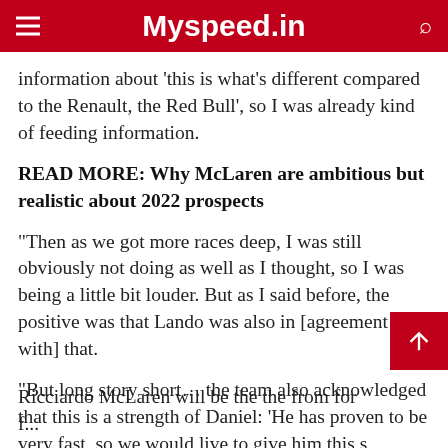Myspeed.in
information about 'this is what's different compared to the Renault, the Red Bull', so I was already kind of feeding information.
READ MORE: Why McLaren are ambitious but realistic about 2022 prospects
“Then as we got more races deep, I was still obviously not doing as well as I thought, so I was being a little bit louder. But as I said before, the positive was that Lando was also in [agreement with] that.
“But long story short… the team also acknowledged that this is a strength of Daniel: ‘He has proven to be very fast, so we would live to give him this s… can get the most out of Daniel’.”
Ricciardo McLaren will be the the from for f...